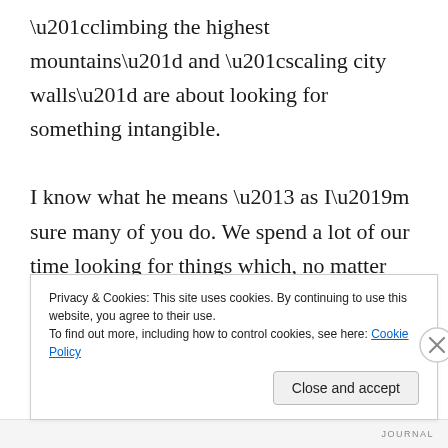“climbing the highest mountains” and “scaling city walls” are about looking for something intangible.

I know what he means – as I’m sure many of you do. We spend a lot of our time looking for things which, no matter how hard we look, we may never find – things that have to find us, so to speak. That can be religion, a career, the ideal home – anything.
Privacy & Cookies: This site uses cookies. By continuing to use this website, you agree to their use.
To find out more, including how to control cookies, see here: Cookie Policy
JOURNAL